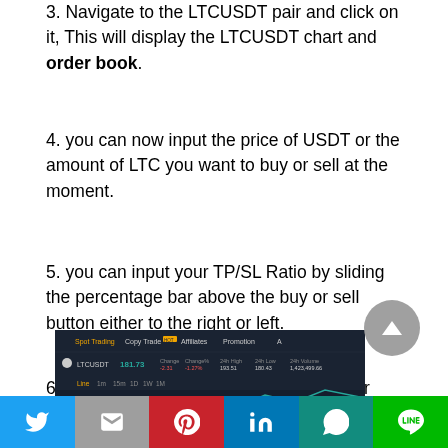3. Navigate to the LTCUSDT pair and click on it, This will display the LTCUSDT chart and order book.
4. you can now input the price of USDT or the amount of LTC you want to buy or sell at the moment.
5. you can input your TP/SL Ratio by sliding the percentage bar above the buy or sell button either to the right or left.
6. Click on the BUY or SELL icon to enter your LTC order.
[Figure (screenshot): Screenshot of a cryptocurrency trading platform showing LTCUSDT trading interface with navigation menu including Spot Trading, Copy Trade, Affiliates, Promotion tabs, and price data showing 181.73]
Social share bar with Twitter, Gmail, Pinterest, LinkedIn, WhatsApp, LINE buttons